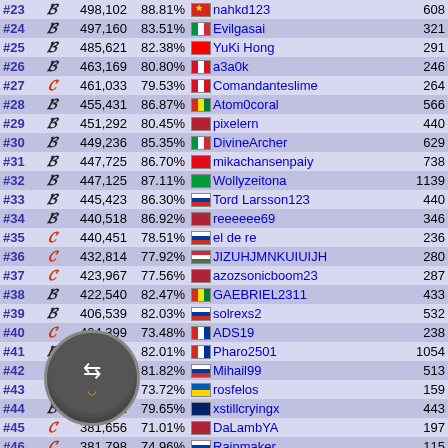| Rank | Grade | Score | Pct | Player | Plays |
| --- | --- | --- | --- | --- | --- |
| #23 | B | 498,102 | 88.81% | nahkd123 | 608 |
| #24 | B | 497,160 | 83.51% | Evilgasai | 321 |
| #25 | B | 485,621 | 82.38% | YuKi Hong | 291 |
| #26 | B | 463,169 | 80.80% | a3a0k | 246 |
| #27 | C | 461,033 | 79.53% | Comandanteslime | 264 |
| #28 | B | 455,431 | 86.87% | Atom0coral | 566 |
| #29 | B | 451,292 | 80.45% | pixelern | 440 |
| #30 | B | 449,236 | 85.35% | DivineArcher | 629 |
| #31 | B | 447,725 | 86.70% | mikachansenpaiy | 738 |
| #32 | B | 447,125 | 87.11% | Wollyzeitona | 1139 |
| #33 | B | 445,423 | 86.30% | Tord Larsson123 | 440 |
| #34 | B | 440,518 | 86.92% | reeeeee69 | 346 |
| #35 | C | 440,451 | 78.51% | el de re | 236 |
| #36 | C | 432,814 | 77.92% | JIZUHJMNKUIUIJH | 280 |
| #37 | C | 423,967 | 77.56% | azozsonicboom23 | 287 |
| #38 | B | 422,540 | 82.47% | GAEBRIEL2311 | 433 |
| #39 | B | 406,539 | 82.03% | solrexs2 | 532 |
| #40 | C | 404,399 | 73.48% | ADS19 | 238 |
| #41 | B | 403,820 | 82.01% | Pharo2501 | 1054 |
| #42 | B | 398,643 | 81.82% | Mihail99 | 513 |
| #43 | C | 395,981 | 73.72% | rosfelos | 159 |
| #44 | B | 391,682 | 79.65% | xstillcryingx | 443 |
| #45 | C | 381,656 | 71.01% | DaLambYA | 197 |
| #46 | C | 381,798 | 74.96% | Rainmaker_ | 115 |
| #47 | B | 356,939 | 75.95% | zW0lf_ | 606 |
| #48 | C | 349,105 | 74.58% | XxAleOsu | 836 |
| #49 | C | 348,584 | 74.81% |  | 748 |